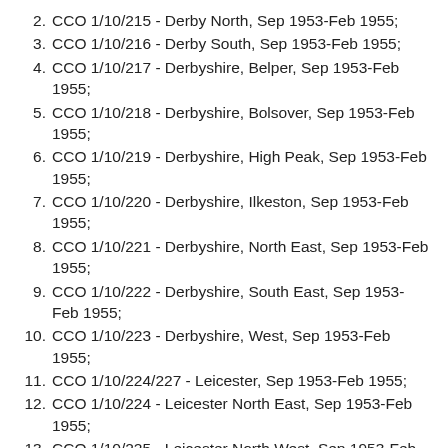2. CCO 1/10/215 - Derby North, Sep 1953-Feb 1955;
3. CCO 1/10/216 - Derby South, Sep 1953-Feb 1955;
4. CCO 1/10/217 - Derbyshire, Belper, Sep 1953-Feb 1955;
5. CCO 1/10/218 - Derbyshire, Bolsover, Sep 1953-Feb 1955;
6. CCO 1/10/219 - Derbyshire, High Peak, Sep 1953-Feb 1955;
7. CCO 1/10/220 - Derbyshire, Ilkeston, Sep 1953-Feb 1955;
8. CCO 1/10/221 - Derbyshire, North East, Sep 1953-Feb 1955;
9. CCO 1/10/222 - Derbyshire, South East, Sep 1953-Feb 1955;
10. CCO 1/10/223 - Derbyshire, West, Sep 1953-Feb 1955;
11. CCO 1/10/224/227 - Leicester, Sep 1953-Feb 1955;
12. CCO 1/10/224 - Leicester North East, Sep 1953-Feb 1955;
13. CCO 1/10/225 - Leicester North West, Sep 1953-Feb 1955;
14. CCO 1/10/226 - Leicester South East, Sep 1953-